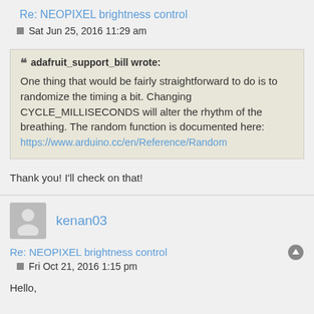Re: NEOPIXEL brightness control
Sat Jun 25, 2016 11:29 am
adafruit_support_bill wrote: One thing that would be fairly straightforward to do is to randomize the timing a bit. Changing CYCLE_MILLISECONDS will alter the rhythm of the breathing. The random function is documented here: https://www.arduino.cc/en/Reference/Random
Thank you! I'll check on that!
[Figure (illustration): Generic user avatar icon (silhouette of a person)]
kenan03
Re: NEOPIXEL brightness control
Fri Oct 21, 2016 1:15 pm
Hello,